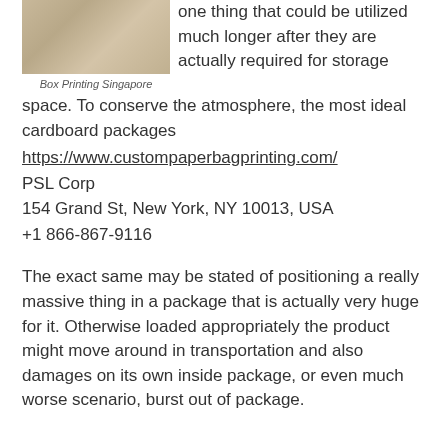[Figure (photo): Photo of a box/package with a burlap or textured surface]
Box Printing Singapore
one thing that could be utilized much longer after they are actually required for storage space. To conserve the atmosphere, the most ideal cardboard packages
https://www.custompaperbagprinting.com/
PSL Corp
154 Grand St, New York, NY 10013, USA
+1 866-867-9116
The exact same may be stated of positioning a really massive thing in a package that is actually very huge for it. Otherwise loaded appropriately the product might move around in transportation and also damages on its own inside package, or even much worse scenario, burst out of package.